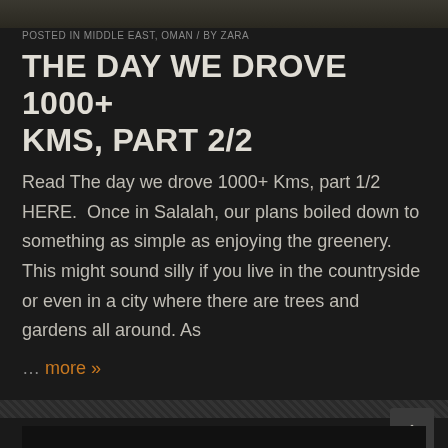[Figure (photo): Partial view of a photo at the top of the page, dark tones]
POSTED IN MIDDLE EAST, OMAN / BY ZARA
THE DAY WE DROVE 1000+ KMS, PART 2/2
Read The day we drove 1000+ Kms, part 1/2 HERE. Once in Salalah, our plans boiled down to something as simple as enjoying the greenery. This might sound silly if you live in the countryside or even in a city where there are trees and gardens all around. As
… more »